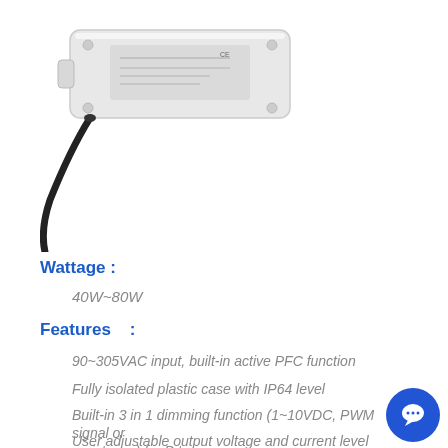[Figure (photo): White rectangular LED driver power supply with a black cable, CE marked, on white background]
Wattage :
40W~80W
Features   :
90~305VAC input, built-in active PFC function
Fully isolated plastic case with IP64 level
Built-in 3 in 1 dimming function (1~10VDC, PWM signal or resistance) for B type
User adjustable output voltage and current level for A type
Suitable for indoor LED lighting and moving sign applications